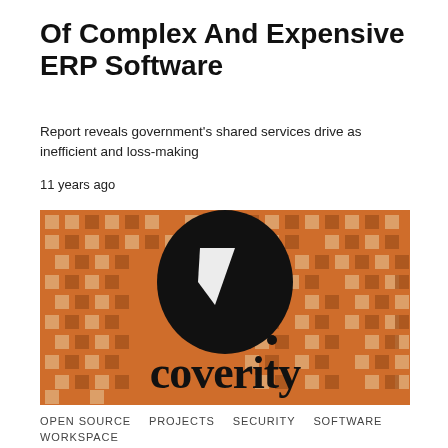Of Complex And Expensive ERP Software
Report reveals government's shared services drive as inefficient and loss-making
11 years ago
[Figure (logo): Coverity logo on an orange crossword-style grid background with a black circular icon containing a white checkmark]
OPEN SOURCE   PROJECTS   SECURITY   SOFTWARE   WORKSPACE